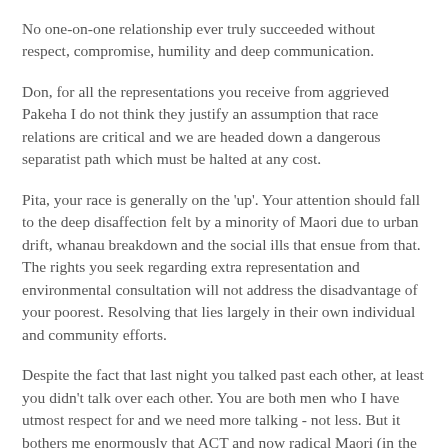No one-on-one relationship ever truly succeeded without respect, compromise, humility and deep communication.
Don, for all the representations you receive from aggrieved Pakeha I do not think they justify an assumption that race relations are critical and we are headed down a dangerous separatist path which must be halted at any cost.
Pita, your race is generally on the 'up'. Your attention should fall to the deep disaffection felt by a minority of Maori due to urban drift, whanau breakdown and the social ills that ensue from that. The rights you seek regarding extra representation and environmental consultation will not address the disadvantage of your poorest. Resolving that lies largely in their own individual and community efforts.
Despite the fact that last night you talked past each other, at least you didn't talk over each other. You are both men who I have utmost respect for and we need more talking - not less. But it bothers me enormously that ACT and now radical Maori (in the form of the Mana Party) are polarising and